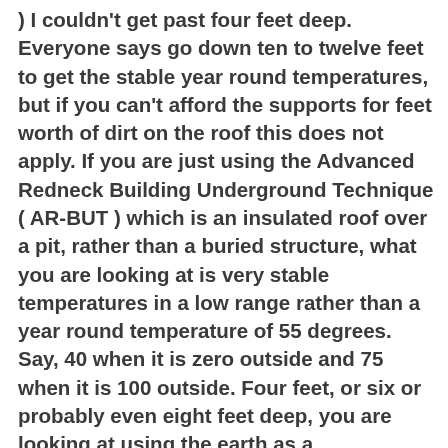) I couldn't get past four feet deep.  Everyone says go down ten to twelve feet to get the stable year round temperatures, but if you can't afford the supports for feet worth of dirt on the roof this does not apply.  If you are just using the Advanced Redneck Building Underground Technique ( AR-BUT ) which is an insulated roof over a pit, rather than a buried structure, what you are looking at is very stable temperatures in a low range rather than a year round temperature of 55 degrees.  Say, 40 when it is zero outside and 75 when it is 100 outside.  Four feet, or six or probably even eight feet deep, you are looking at using the earth as a temperature battery, evening out fluctuations.  My advice is that if money is tight now, the pit is four feet deep.  Then, when you save more, get the backhoe back out there